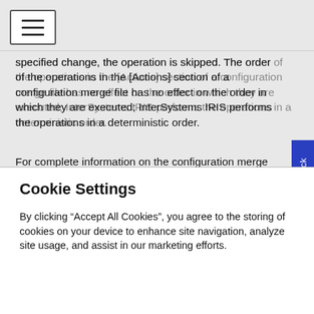[navigation bar with hamburger menu icon]
specified change, the operation is skipped. The order of the operations in the [Actions] section of a configuration merge file has no effect on the order in which they are executed; InterSystems IRIS performs the operations in a deterministic order.
For complete information on the configuration merge feature, see Automating Configuration of InterSystems IRIS with Configuration Merge; for an explanation of how the [Actions] parameters are used and lists of the parameters and details about their usage, see Can configuration merge
Cookie Settings
By clicking “Accept All Cookies”, you agree to the storing of cookies on your device to enhance site navigation, analyze site usage, and assist in our marketing efforts.